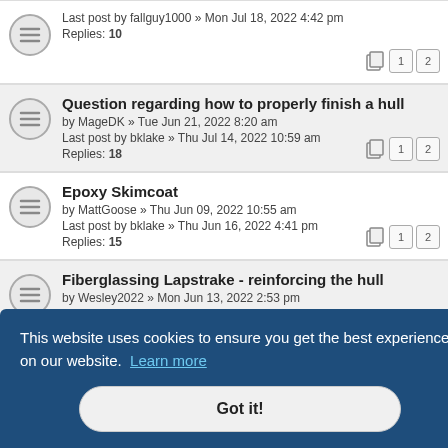Last post by fallguy1000 » Mon Jul 18, 2022 4:42 pm
Replies: 10
Question regarding how to properly finish a hull
by MageDK » Tue Jun 21, 2022 8:20 am
Last post by bklake » Thu Jul 14, 2022 10:59 am
Replies: 18
Epoxy Skimcoat
by MattGoose » Thu Jun 09, 2022 10:55 am
Last post by bklake » Thu Jun 16, 2022 4:41 pm
Replies: 15
Fiberglassing Lapstrake - reinforcing the hull
by Wesley2022 » Mon Jun 13, 2022 2:53 pm
Last post by fallguy1000 » Tue Jun 14, 2022 12:35 pm
Replies: 3
Which west products
by firedrk41 » Wed Jun 01, 2022 3:46 pm
Last post by wpstarling » Fri Jun 03, 2022 8:45 am
This website uses cookies to ensure you get the best experience on our website. Learn more
Got it!